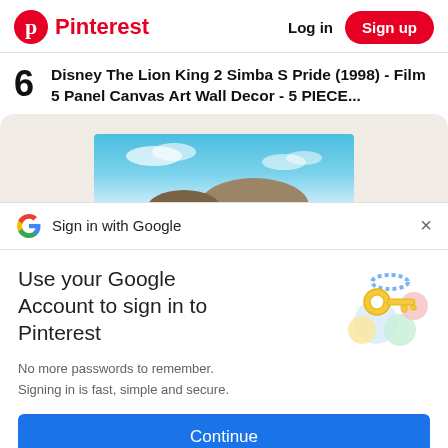Pinterest | Log in | Sign up
6  Disney The Lion King 2 Simba S Pride (1998) - Film 5 Panel Canvas Art Wall Decor - 5 PIECE...
[Figure (illustration): Cropped product image showing a blue sky background canvas art wall decor item in a beige rounded rectangle area]
Sign in with Google
Use your Google Account to sign in to Pinterest
No more passwords to remember. Signing in is fast, simple and secure.
[Figure (illustration): Google key illustration with colorful circles and a golden key]
Continue